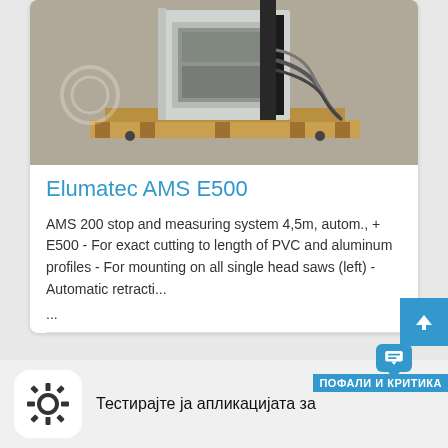[Figure (photo): Photo of Elumatec AMS E500 stop and measuring system mounted on wooden pallet, industrial machinery with cables visible]
Elumatec AMS E500
AMS 200 stop and measuring system 4,5m, autom., + E500 - For exact cutting to length of PVC and aluminum profiles - For mounting on all single head saws (left) - Automatic retracti...
...
[Figure (screenshot): Bottom bar showing a gear icon app button and Macedonian text 'Тестирајте ја апликацијата за' with a blue chat/feedback bubble overlay labeled ПОФАЛИ И КРИТИКА]